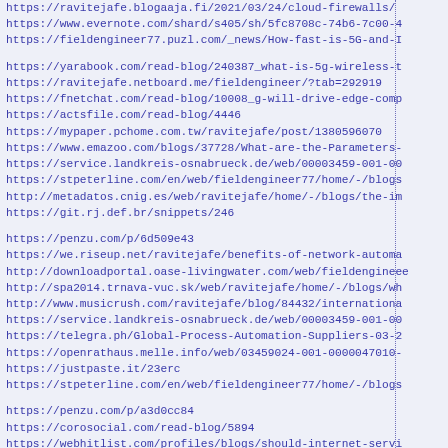https://ravitejafe.blogaaja.fi/2021/03/24/cloud-firewalls/
https://www.evernote.com/shard/s405/sh/5fc8708c-74b6-7c00-4
https://fieldengineer77.puzl.com/_news/How-fast-is-5G-and-I
https://yarabook.com/read-blog/240387_what-is-5g-wireless-t
https://ravitejafe.netboard.me/fieldengineer/?tab=292919
https://fnetchat.com/read-blog/10008_g-will-drive-edge-comp
https://actsfile.com/read-blog/4446
https://mypaper.pchome.com.tw/ravitejafe/post/1380596070
https://www.emazoo.com/blogs/37728/What-are-the-Parameters-
https://service.landkreis-osnabrueck.de/web/00003459-001-00
https://stpeterline.com/en/web/fieldengineer77/home/-/blogs
http://metadatos.cnig.es/web/ravitejafe/home/-/blogs/the-im
https://git.rj.def.br/snippets/246
https://penzu.com/p/6d509e43
https://we.riseup.net/ravitejafe/benefits-of-network-automa
http://downloadportal.oase-livingwater.com/web/fieldengineee
http://spa2014.trnava-vuc.sk/web/ravitejafe/home/-/blogs/wh
http://www.musicrush.com/ravitejafe/blog/84432/internationa
https://service.landkreis-osnabrueck.de/web/00003459-001-00
https://telegra.ph/Global-Process-Automation-Suppliers-03-2
https://openrathaus.melle.info/web/03459024-001-0000047010-
https://justpaste.it/23erc
https://stpeterline.com/en/web/fieldengineer77/home/-/blogs
https://penzu.com/p/a3d0cc84
https://corosocial.com/read-blog/5894
https://webhitlist.com/profiles/blogs/should-internet-servi
https://we.riseup.net/ravitejafe/internet-services-and-tele